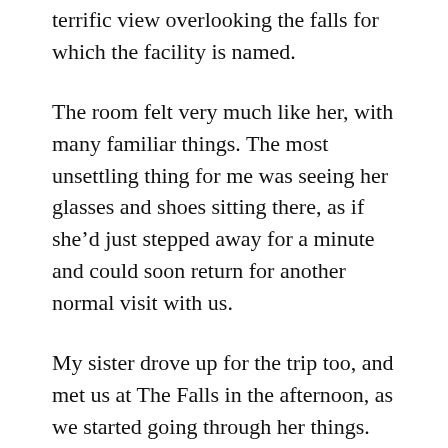terrific view overlooking the falls for which the facility is named.
The room felt very much like her, with many familiar things. The most unsettling thing for me was seeing her glasses and shoes sitting there, as if she’d just stepped away for a minute and could soon return for another normal visit with us.
My sister drove up for the trip too, and met us at The Falls in the afternoon, as we started going through her things. The main things to deal with were her collection of pictures, and her furniture. Katy and I divided up the pictures, and Katy decided to ship a few pieces